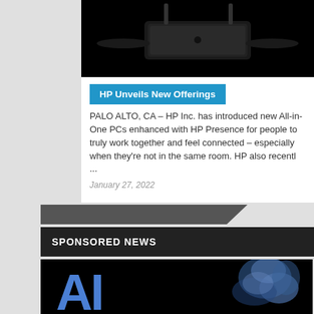[Figure (photo): Dark product photo of what appears to be a wireless router or electronics device against black background]
HP Unveils New Offerings
PALO ALTO, CA – HP Inc. has introduced new All-in-One PCs enhanced with HP Presence for people to truly work together and feel connected – especially when they're not in the same room. HP also recentl ...
January 27, 2022
SPONSORED NEWS
[Figure (photo): Dark background image with large blue 'AI' text and a blue crystalline or robotic figure on the right side]